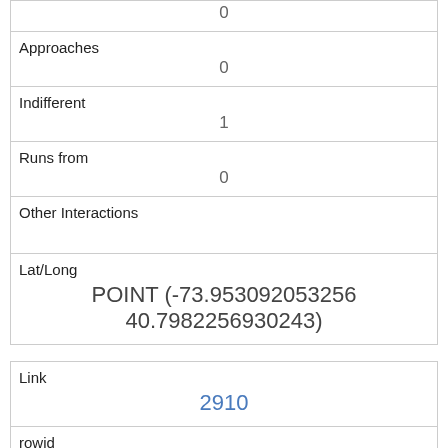| 0 |
| Approaches | 0 |
| Indifferent | 1 |
| Runs from | 0 |
| Other Interactions |  |
| Lat/Long | POINT (-73.953092053256 40.7982256930243) |
| Link | 2910 |
| rowid | 2910 |
| longitude | -73.9506062997507 |
| latitude | 40.797618949667395 |
| Unique Squirrel ID |  |